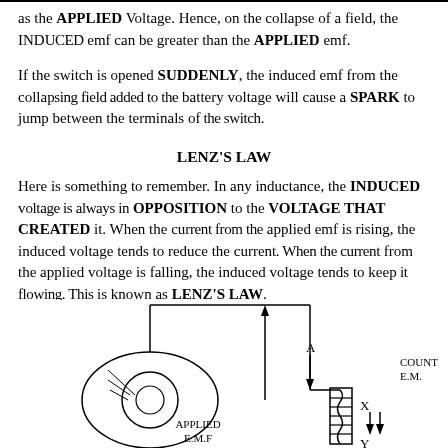as the APPLIED Voltage. Hence, on the collapse of a field, the INDUCED emf can be greater than the APPLIED emf.
If the switch is opened SUDDENLY, the induced emf from the collapsing field added to the battery voltage will cause a SPARK to jump between the terminals of the switch.
LENZ'S LAW
Here is something to remember. In any inductance, the INDUCED voltage is always in OPPOSITION to the VOLTAGE THAT CREATED it. When the current from the applied emf is rising, the induced voltage tends to reduce the current. When the current from the applied voltage is falling, the induced voltage tends to keep it flowing. This is known as LENZ'S LAW.
ON INDUCTANCE AND A. C.
In figures 73 and 74 you learned what happens when d.c. is applied to a coil. Now let's see what takes place when a.c. is applied to a coil.
[Figure (engineering-diagram): Diagram of a coil (inductor) with applied E.M.F. and counter E.M.F. labels, showing current directions with arrows labeled A, X, Y and components including a coil/spring element.]